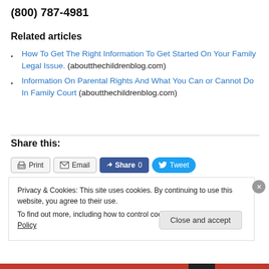(800) 787-4981
Related articles
How To Get The Right Information To Get Started On Your Family Legal Issue. (aboutthechildrenblog.com)
Information On Parental Rights And What You Can or Cannot Do In Family Court (aboutthechildrenblog.com)
Share this:
Print  Email  Share 0  Tweet
Privacy & Cookies: This site uses cookies. By continuing to use this website, you agree to their use.
To find out more, including how to control cookies, see here: Cookie Policy